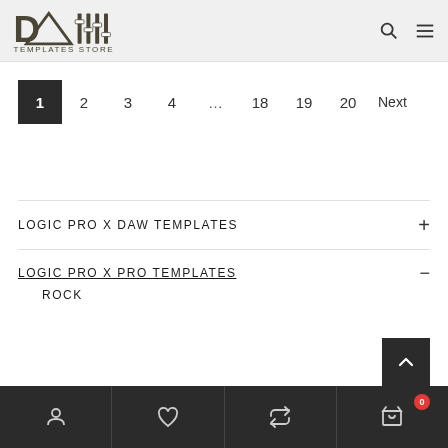DAW Templates Store
1 2 3 4 ... 18 19 20 Next
LOGIC PRO X DAW TEMPLATES
LOGIC PRO X PRO TEMPLATES
ROCK
Account | Wishlist | Compare | Cart (0)